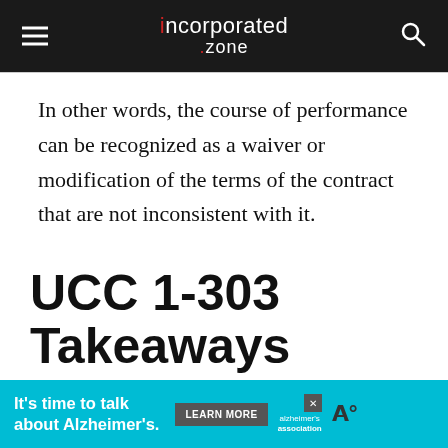incorporated.zone
In other words, the course of performance can be recognized as a waiver or modification of the terms of the contract that are not inconsistent with it.
UCC 1-303 Takeaways